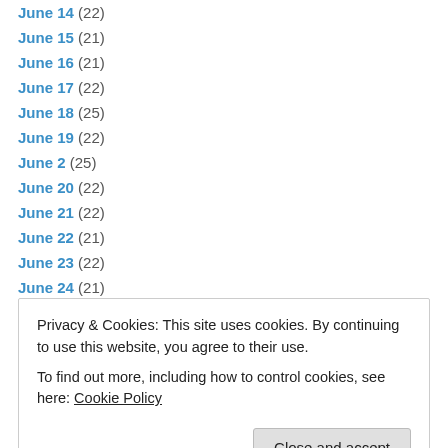June 14 (22)
June 15 (21)
June 16 (21)
June 17 (22)
June 18 (25)
June 19 (22)
June 2 (25)
June 20 (22)
June 21 (22)
June 22 (21)
June 23 (22)
June 24 (21)
June 25 (24)
Privacy & Cookies: This site uses cookies. By continuing to use this website, you agree to their use. To find out more, including how to control cookies, see here: Cookie Policy
June 4 (26)